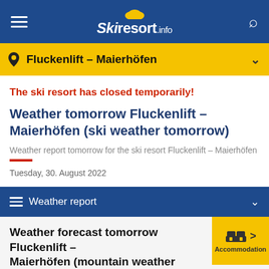Skiresort.info
Fluckenlift – Maierhöfen
The ski resort has closed temporarily!
Weather tomorrow Fluckenlift – Maierhöfen (ski weather tomorrow)
Weather report tomorrow for the ski resort Fluckenlift – Maierhöfen
Tuesday, 30. August 2022
Weather report
Weather forecast tomorrow Fluckenlift – Maierhöfen (mountain weather tomorrow)